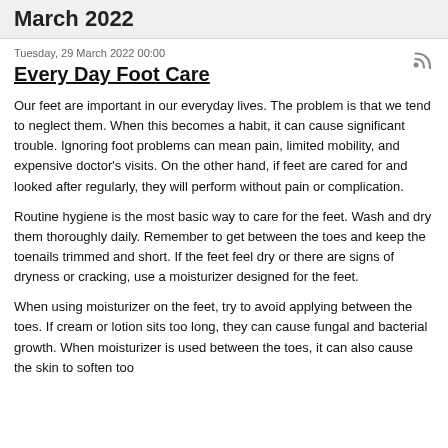March 2022
Tuesday, 29 March 2022 00:00
Every Day Foot Care
Our feet are important in our everyday lives. The problem is that we tend to neglect them. When this becomes a habit, it can cause significant trouble. Ignoring foot problems can mean pain, limited mobility, and expensive doctor's visits. On the other hand, if feet are cared for and looked after regularly, they will perform without pain or complication.
Routine hygiene is the most basic way to care for the feet. Wash and dry them thoroughly daily. Remember to get between the toes and keep the toenails trimmed and short. If the feet feel dry or there are signs of dryness or cracking, use a moisturizer designed for the feet.
When using moisturizer on the feet, try to avoid applying between the toes. If cream or lotion sits too long, they can cause fungal and bacterial growth. When moisturizer is used between the toes, it can also cause the skin to soften too